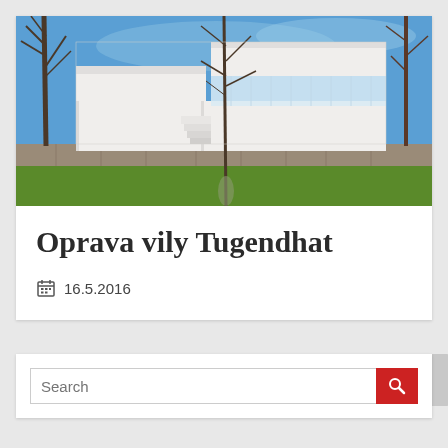[Figure (photo): Exterior photograph of Villa Tugendhat, a modernist white building with flat roofs and large glass windows, surrounded by trees and green lawn with a stone wall in the foreground, blue sky in background.]
Oprava vily Tugendhat
16.5.2016